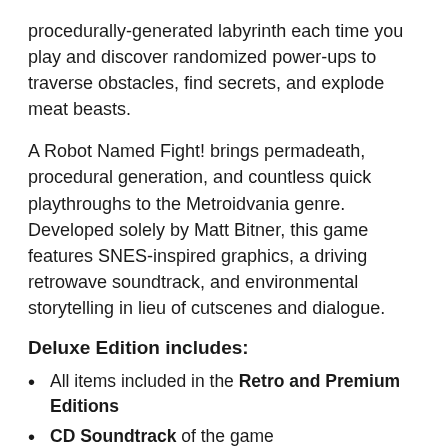procedurally-generated labyrinth each time you play and discover randomized power-ups to traverse obstacles, find secrets, and explode meat beasts.
A Robot Named Fight! brings permadeath, procedural generation, and countless quick playthroughs to the Metroidvania genre. Developed solely by Matt Bitner, this game features SNES-inspired graphics, a driving retrowave soundtrack, and environmental storytelling in lieu of cutscenes and dialogue.
Deluxe Edition includes:
All items included in the Retro and Premium Editions
CD Soundtrack of the game
Amazing Bonus Item that the Discord community will vote on!
Custom Sized Premium Box that everything goes in (feels like leather!)
A Lorem Ipsum Gold (Full Color, hardcover, and ...